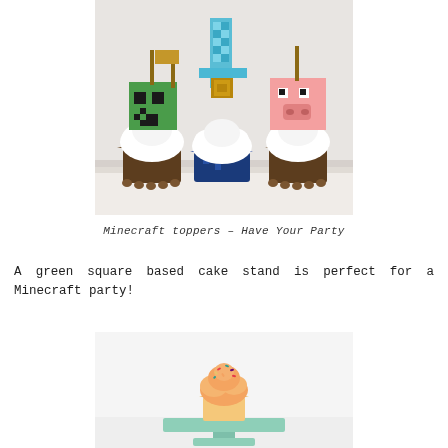[Figure (photo): Three cupcakes with white frosting in brown wrappers, each topped with a Minecraft-themed paper topper: a green Creeper face, a blue diamond sword, and a pink Pig face, on a white surface]
Minecraft toppers - Have Your Party
A green square based cake stand is perfect for a Minecraft party!
[Figure (photo): A single cupcake with colorful sprinkles on top sitting on a mint/light green square cake stand against a white background]